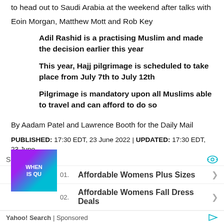to head out to Saudi Arabia at the weekend after talks with
Eoin Morgan, Matthew Mott and Rob Key
Adil Rashid is a practising Muslim and made the decision earlier this year
This year, Hajj pilgrimage is scheduled to take place from July 7th to July 12th
Pilgrimage is mandatory upon all Muslims able to travel and can afford to do so
By Aadam Patel and Lawrence Booth for the Daily Mail
PUBLISHED: 17:30 EDT, 23 June 2022 | UPDATED: 17:30 EDT, 23 June
[Figure (infographic): Advertisement panel with Yahoo Search sponsored results showing 'Affordable Womens Plus Sizes' and 'Affordable Womens Fall Dress Deals', with a small thumbnail image showing text 'WHEN IS QU']